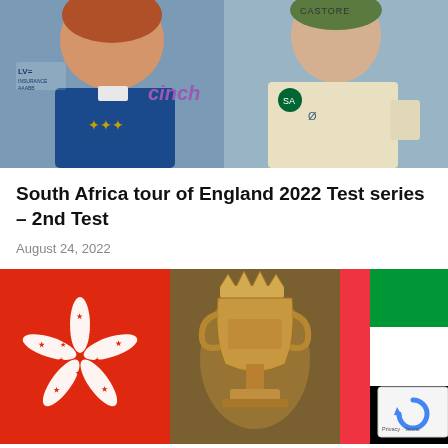[Figure (photo): Two cricket players side by side - England cricketer (Ben Stokes) on left in blue England kit with LV= Insurance and cinch logos, South Africa cricketer on right in cream batting kit with Castore logo]
South Africa tour of England 2022 Test series – 2nd Test
August 24, 2022
[Figure (photo): Hong Kong flag on left, gold cricket trophy/cup in center, UAE flag on right]